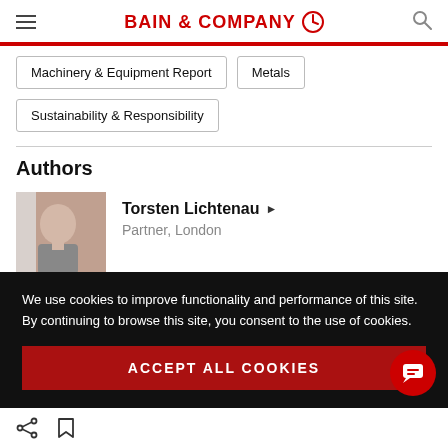BAIN & COMPANY
Machinery & Equipment Report
Metals
Sustainability & Responsibility
Authors
Torsten Lichtenau ▶ Partner, London
We use cookies to improve functionality and performance of this site. By continuing to browse this site, you consent to the use of cookies.
ACCEPT ALL COOKIES